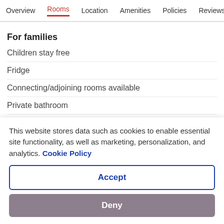Overview  Rooms  Location  Amenities  Policies  Reviews
For families
Children stay free
Fridge
Connecting/adjoining rooms available
Private bathroom
Premium TV channels
Garden
Cleaning & safety
This website stores data such as cookies to enable essential site functionality, as well as marketing, personalization, and analytics. Cookie Policy
Accept
Deny